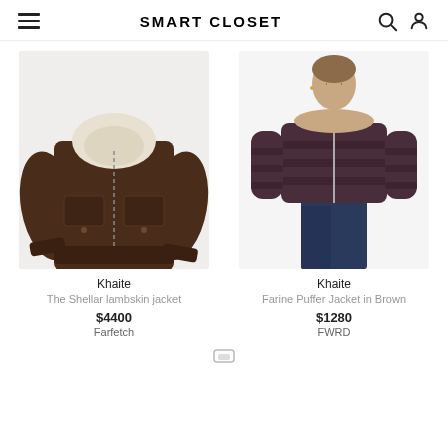SMART CLOSET
[Figure (photo): Khaite The Shellar lambskin jacket in dark brown with cream shearling collar, bomber style with front pockets]
Khaite
The Shellar lambskin jacket
$4400
Farfetch
[Figure (photo): Khaite Farine Puffer Jacket in Brown worn by a model with dark jeans]
Khaite
Farine Puffer Jacket in Brown
$1280
FWRD